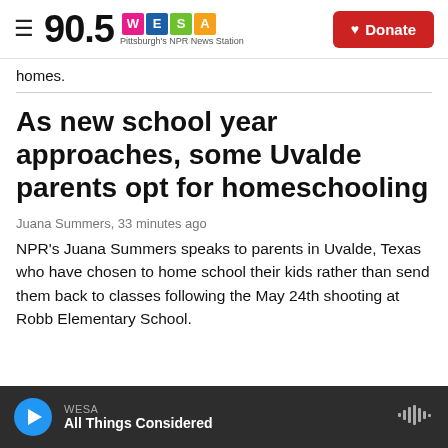90.5 WESA Pittsburgh's NPR News Station | Donate
homes.
As new school year approaches, some Uvalde parents opt for homeschooling
Juana Summers,  33 minutes ago
NPR's Juana Summers speaks to parents in Uvalde, Texas who have chosen to home school their kids rather than send them back to classes following the May 24th shooting at Robb Elementary School.
WESA | All Things Considered